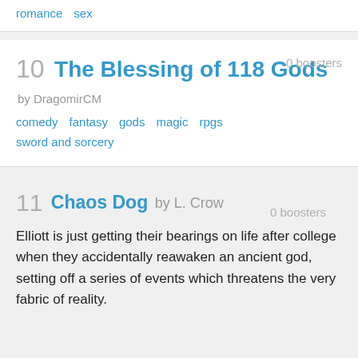romance   sex
10   The Blessing of 118 Gods
by DragomirCM
comedy   fantasy   gods   magic   rpgs   sword and sorcery
0 boosters
11   Chaos Dog   by L. Crow
0 boosters
Elliott is just getting their bearings on life after college when they accidentally reawaken an ancient god, setting off a series of events which threatens the very fabric of reality.